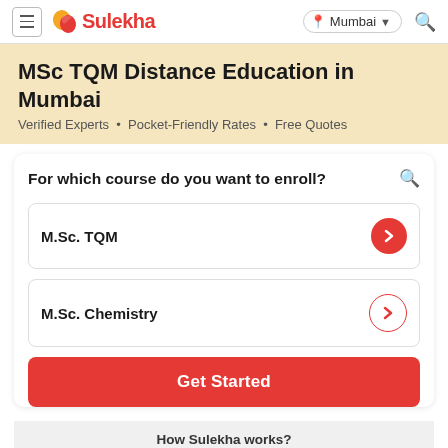Sulekha — Mumbai
MSc TQM Distance Education in Mumbai
Verified Experts • Pocket-Friendly Rates • Free Quotes
For which course do you want to enroll?
M.Sc. TQM
M.Sc. Chemistry
Get Started
How Sulekha works?
1   2   3